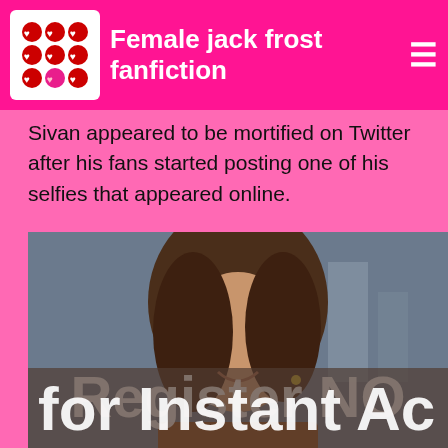Female jack frost fanfiction
Sivan appeared to be mortified on Twitter after his fans started posting one of his selfies that appeared online.
[Figure (photo): Advertisement image featuring a woman with brown hair smiling, overlaid with text 'Register NO' and 'for Instant Ac']